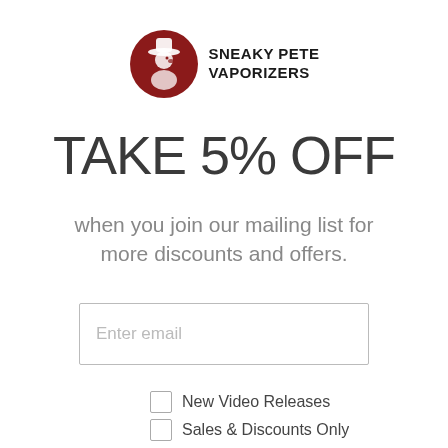[Figure (logo): Sneaky Pete Vaporizers logo: dark red circular emblem with a figure wearing a hat, beside bold uppercase text SNEAKY PETE VAPORIZERS]
TAKE 5% OFF
when you join our mailing list for more discounts and offers.
Enter email
New Video Releases
Sales & Discounts Only